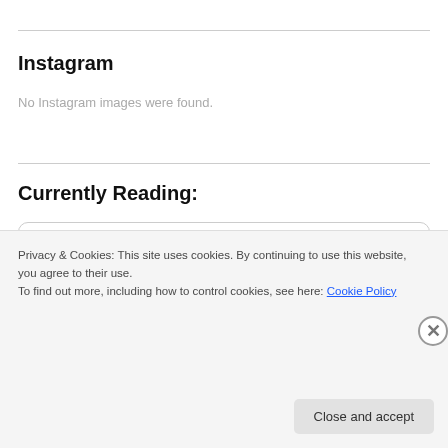Instagram
No Instagram images were found.
Currently Reading:
Most Nights, I Wish It Was You. Poems and Short Stories
by Cam Smith
Privacy & Cookies: This site uses cookies. By continuing to use this website, you agree to their use.
To find out more, including how to control cookies, see here: Cookie Policy